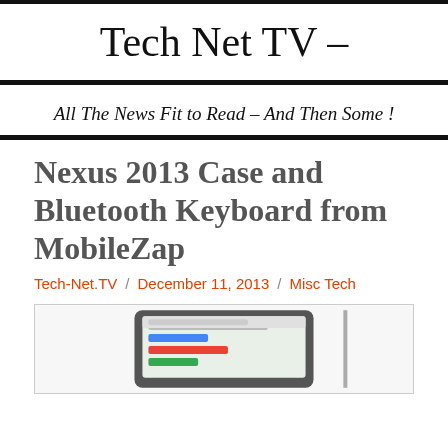Tech Net TV –
All The News Fit to Read – And Then Some !
Nexus 2013 Case and Bluetooth Keyboard from MobileZap
Tech-Net.TV / December 11, 2013 / Misc Tech
[Figure (photo): Photo of a tablet device (Nexus 2013) with a case and Bluetooth keyboard from MobileZap]